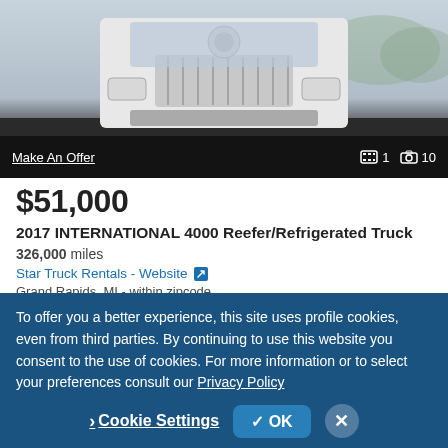[Figure (photo): Front view of a white 2017 International 4000 refrigerated truck against a light background]
Make An Offer
1  10
$51,000
2017 INTERNATIONAL 4000 Reefer/Refrigerated Truck
326,000 miles
Star Truck Rentals - Website
Grand Rapids, MI - within zipcode
Email
Call
To offer you a better experience, this site uses profile cookies, even from third parties. By continuing to use this website you consent to the use of cookies. For more information or to select your preferences consult our Privacy Policy
Cookie Settings
OK